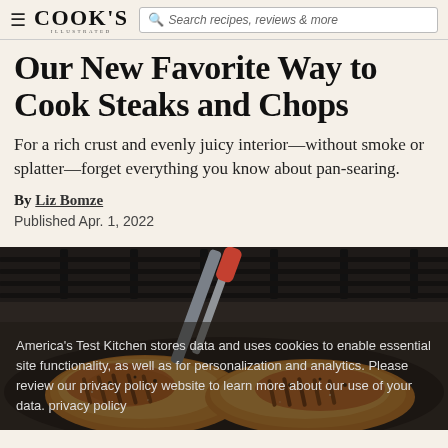Cook's Illustrated | Search recipes, reviews & more
Our New Favorite Way to Cook Steaks and Chops
For a rich crust and evenly juicy interior—without smoke or splatter—forget everything you know about pan-searing.
By Liz Bomze
Published Apr. 1, 2022
[Figure (photo): Seared pork chops or steaks in a cast iron pan being lifted with metal tongs, showing golden-brown crust]
America's Test Kitchen stores data and uses cookies to enable essential site functionality, as well as for personalization and analytics. Please review our privacy policy website to learn more about our use of your data. privacy policy